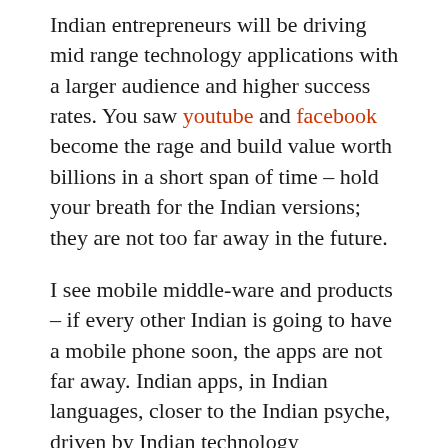Indian entrepreneurs will be driving mid range technology applications with a larger audience and higher success rates. You saw youtube and facebook become the rage and build value worth billions in a short span of time – hold your breath for the Indian versions; they are not too far away in the future.
I see mobile middle-ware and products – if every other Indian is going to have a mobile phone soon, the apps are not far away. Indian apps, in Indian languages, closer to the Indian psyche, driven by Indian technology entrepreneurs. And it is not far in the future that we will have our own Nokias and Sonys and Ericssons – hardware is sure to follow.
I am not a betting person, but if I were, I would be betting on small, consumer shareware coming out of India in the near future – apps for the phone, the iPhone and the PC, that makes practical use of the now ubiquitous personal computer. I see enterprise software being developed in